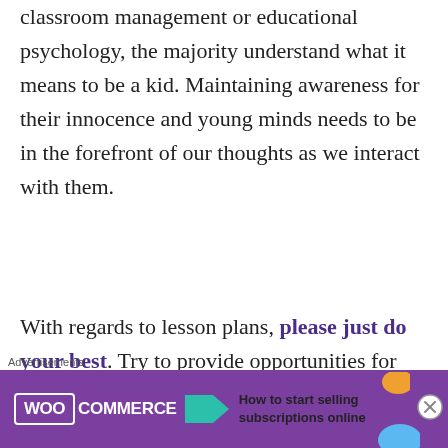classroom management or educational psychology, the majority understand what it means to be a kid. Maintaining awareness for their innocence and young minds needs to be in the forefront of our thoughts as we interact with them.
With regards to lesson plans, please just do your best. Try to provide opportunities for kids to make connections between what they normally
[Figure (screenshot): Advertisement banner for WooCommerce: 'How to start selling subscriptions online' with teal arrow and decorative shapes]